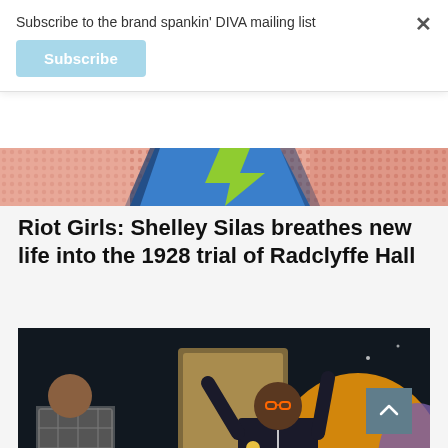Subscribe to the brand spankin' DIVA mailing list
Subscribe
[Figure (illustration): Partial top of a colourful comic-style illustration strip showing blue, green and pink graphic art elements against a pink dotted background]
Riot Girls: Shelley Silas breathes new life into the 1928 trial of Radclyffe Hall
[Figure (photo): Two performers on a dark stage with colourful backgrounds. On the left, a person in a plaid dress leans over a lectern. In the centre-right, a person in a black outfit raises their arms in celebration, wearing a lanyard and leopard-print trousers. The background features orange and purple abstract shapes.]